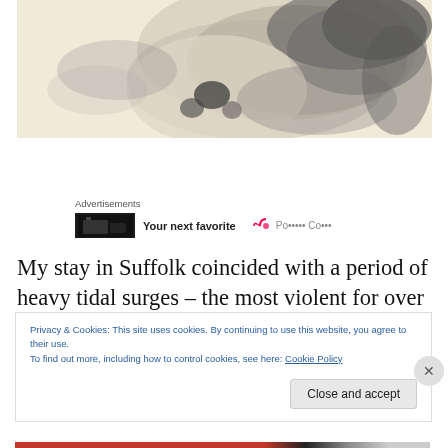[Figure (photo): Grayscale sketch or photo showing fur or animal texture on a light cream/beige background]
Advertisements
[Figure (screenshot): Advertisement banner showing dark electronics image on left and text 'Your next favorite' with a podcast/audio logo on right]
My stay in Suffolk coincided with a period of heavy tidal surges – the most violent for over half a century. Towns
Privacy & Cookies: This site uses cookies. By continuing to use this website, you agree to their use.
To find out more, including how to control cookies, see here: Cookie Policy
Close and accept